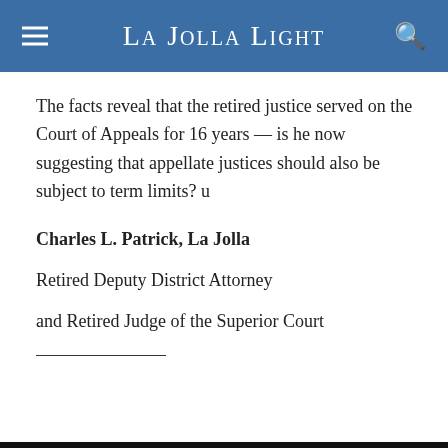La Jolla Light
The facts reveal that the retired justice served on the Court of Appeals for 16 years — is he now suggesting that appellate justices should also be subject to term limits? u
Charles L. Patrick, La Jolla
Retired Deputy District Attorney
and Retired Judge of the Superior Court